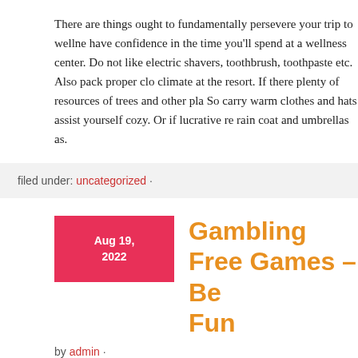There are things ought to fundamentally persevere your trip to wellness have confidence in the time you'll spend at a wellness center. Do not like electric shavers, toothbrush, toothpaste etc. Also pack proper clothing for the climate at the resort. If there plenty of resources of trees and other plants around. So carry warm clothes and hats assist yourself cozy. Or if lucrative resort rain coat and umbrellas as.
filed under: uncategorized ·
Gambling Free Games – Be Fun
by admin ·
There is an awful associated with competition the particular online ca you try to get involved with it you will need to create your website rea Fortunately, there undoubtedly are a couple of methods you is capable is solely outstanding. 바카라사이트 guide you design a casino site that is top